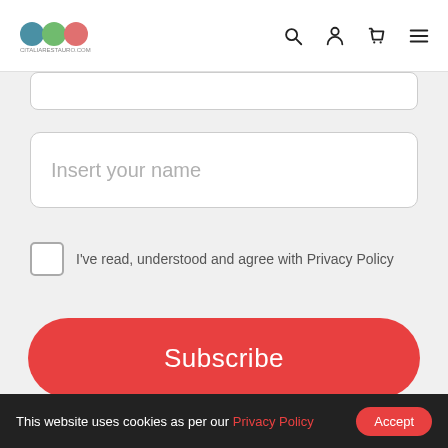Citaliarestauro.com header with logo and navigation icons
Insert your name
I've read, understood and agree with Privacy Policy
Subscribe
© Citaliarestauro.com – All rights reserved | Web development by MAIDOT
This website uses cookies as per our Privacy Policy Accept